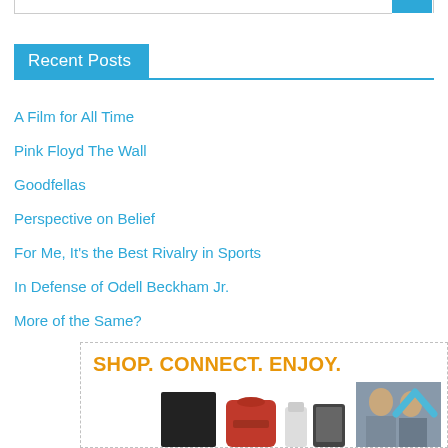Recent Posts
A Film for All Time
Pink Floyd The Wall
Goodfellas
Perspective on Belief
For Me, It's the Best Rivalry in Sports
In Defense of Odell Beckham Jr.
More of the Same?
[Figure (advertisement): Advertisement banner with text 'SHOP. CONNECT. ENJOY.' in orange, showing various consumer products including appliances and electronics below the text.]